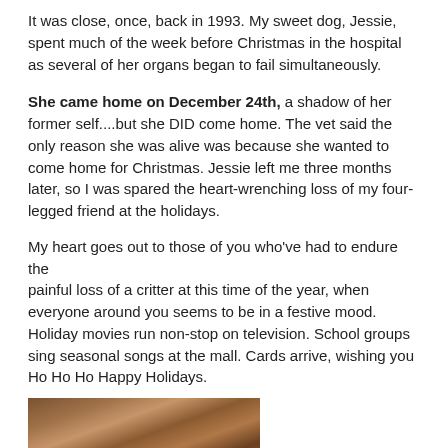It was close, once, back in 1993. My sweet dog, Jessie, spent much of the week before Christmas in the hospital as several of her organs began to fail simultaneously.
She came home on December 24th, a shadow of her former self....but she DID come home. The vet said the only reason she was alive was because she wanted to come home for Christmas. Jessie left me three months later, so I was spared the heart-wrenching loss of my four-legged friend at the holidays.
My heart goes out to those of you who've had to endure the painful loss of a critter at this time of the year, when everyone around you seems to be in a festive mood. Holiday movies run non-stop on television. School groups sing seasonal songs at the mall. Cards arrive, wishing you Ho Ho Ho Happy Holidays.
[Figure (photo): A photograph of a dog (Jessie), partially visible at the bottom of the page.]